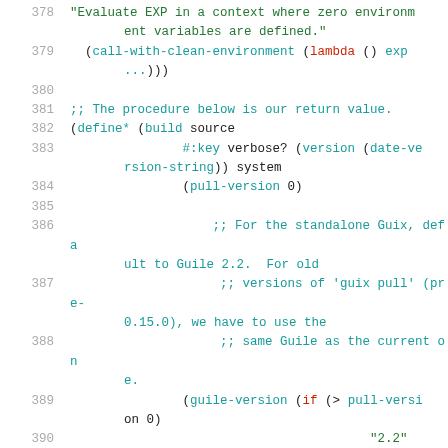[Figure (screenshot): Code listing in Scheme/Guix language, lines 378-391, showing code with syntax highlighting: cyan for keywords and identifiers, red for 'lambda', green for string literals, grey for line numbers.]